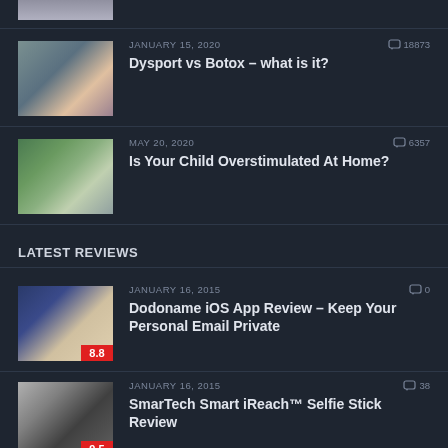[Figure (photo): Partial thumbnail of a person at top of page]
JANUARY 15, 2020  18873  Dysport vs Botox – what is it?
MAY 20, 2020  6357  Is Your Child Overstimulated At Home?
LATEST REVIEWS
JANUARY 16, 2015  0  Dodoname iOS App Review – Keep Your Personal Email Private  8.8
JANUARY 16, 2015  38  SmarTech Smart iReach™ Selfie Stick Review  9.5